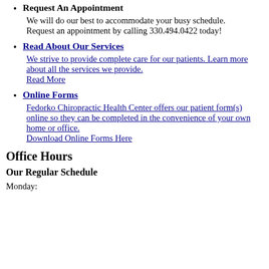Request An Appointment
We will do our best to accommodate your busy schedule. Request an appointment by calling 330.494.0422 today!
Read About Our Services
We strive to provide complete care for our patients. Learn more about all the services we provide. Read More
Online Forms
Fedorko Chiropractic Health Center offers our patient form(s) online so they can be completed in the convenience of your own home or office. Download Online Forms Here
Office Hours
Our Regular Schedule
Monday: